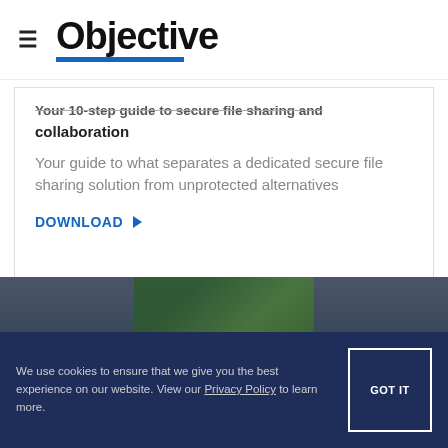Objective
Your 10-step guide to secure file sharing and collaboration
Your guide to what separates a dedicated secure file sharing solution from unprotected alternatives
DOWNLOAD ▶
[Figure (photo): Blurred dark background with a green book or document image]
We use cookies to ensure that we give you the best experience on our website. View our Privacy Policy to learn more.